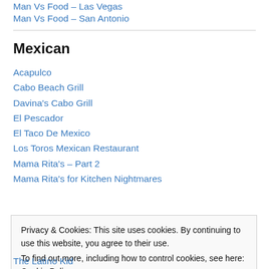Man Vs Food – Las Vegas
Man Vs Food – San Antonio
Mexican
Acapulco
Cabo Beach Grill
Davina's Cabo Grill
El Pescador
El Taco De Mexico
Los Toros Mexican Restaurant
Mama Rita's – Part 2
Mama Rita's for Kitchen Nightmares
Privacy & Cookies: This site uses cookies. By continuing to use this website, you agree to their use. To find out more, including how to control cookies, see here: Cookie Policy
The Latino Kid